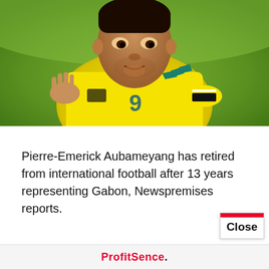[Figure (photo): Pierre-Emerick Aubameyang running in a yellow Gabon national football team jersey with number 9, wearing a black armband, with a green blurred background]
Pierre-Emerick Aubameyang has retired from international football after 13 years representing Gabon, Newspremises reports.
ProfitSence.